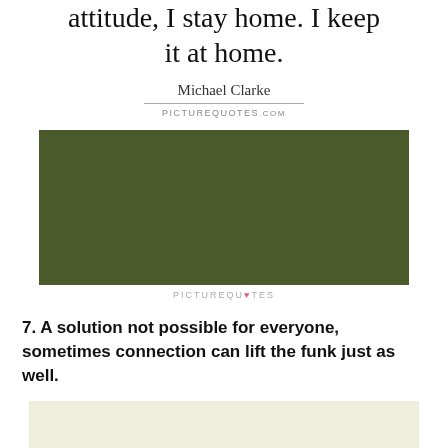attitude, I stay home. I keep it at home.
Michael Clarke
PICTUREQUOTES.com
[Figure (other): Dark olive green rectangular banner image]
PICTUREQUOTES
7. A solution not possible for everyone, sometimes connection can lift the funk just as well.
[Figure (other): Beige/cream colored rectangular banner]